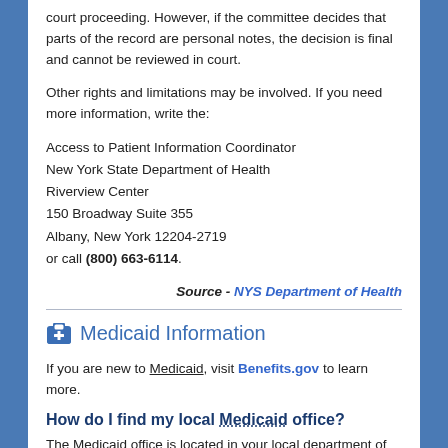court proceeding. However, if the committee decides that parts of the record are personal notes, the decision is final and cannot be reviewed in court.
Other rights and limitations may be involved. If you need more information, write the:
Access to Patient Information Coordinator
New York State Department of Health
Riverview Center
150 Broadway Suite 355
Albany, New York 12204-2719
or call (800) 663-6114.
Source - NYS Department of Health
Medicaid Information
If you are new to Medicaid, visit Benefits.gov to learn more.
How do I find my local Medicaid office?
The Medicaid office is located in your local department of